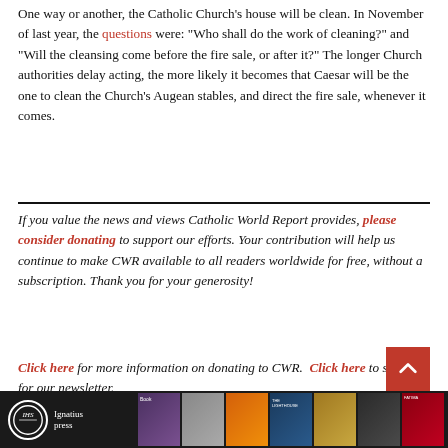One way or another, the Catholic Church's house will be clean. In November of last year, the questions were: “Who shall do the work of cleaning?” and “Will the cleansing come before the fire sale, or after it?” The longer Church authorities delay acting, the more likely it becomes that Caesar will be the one to clean the Church’s Augean stables, and direct the fire sale, whenever it comes.
If you value the news and views Catholic World Report provides, please consider donating to support our efforts. Your contribution will help us continue to make CWR available to all readers worldwide for free, without a subscription. Thank you for your generosity!
Click here for more information on donating to CWR. Click here to sign up for our newsletter.
[Figure (other): Book covers banner at bottom of page showing Ignatius Press logo and several book thumbnails]